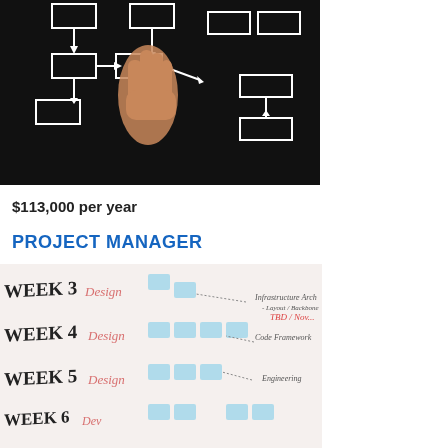[Figure (photo): A hand pointing at a flowchart diagram drawn in white chalk on a black background, showing boxes connected by arrows.]
$113,000 per year
PROJECT MANAGER
[Figure (photo): A whiteboard or paper showing a hand-drawn project plan with weeks (WEEK 3, WEEK 4, WEEK 5, WEEK 6) labeled in black and pink handwriting, with blue sticky notes arranged in a grid pattern and handwritten notes about design and infrastructure.]